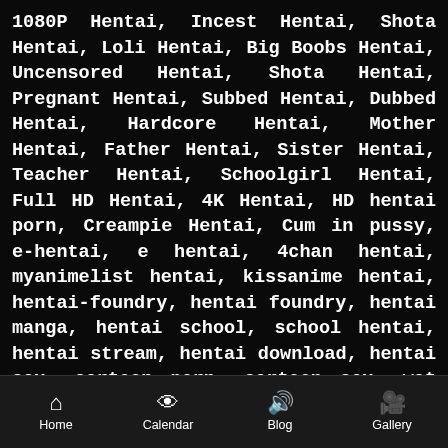1080P Hentai, Incest Hentai, Shota Hentai, Loli Hentai, Big Boobs Hentai, Uncensored Hentai, Shota Hentai, Pregnant Hentai, Subbed Hentai, Dubbed Hentai, Hardcore Hentai, Mother Hentai, Father Hentai, Sister Hentai, Teacher Hentai, Schoolgirl Hentai, Full HD Hentai, 4K Hentai, HD hentai porn, Creampie Hentai, Cum in pussy, e-hentai, e hentai, 4chan hentai, myanimelist hentai, kissanime hentai, hentai-foundry, hentai foundry, hentai manga, hentai school, school hentai, hentai stream, hentai download, hentai sex, cartoon porn, cartoon sex, wet pussy, sex games, hentai.tv hentai, hentai gifs, hentai masturbation, fap hentai, e-hentai.org hentai, ehentai hentai, nhentai.net hentai, hentai2read.com hentai, hitomi.la hentai, fakku.net hentai, vndb.org hentai, hentaigasm.com hentai,
Home | Calendar | Blog | Gallery